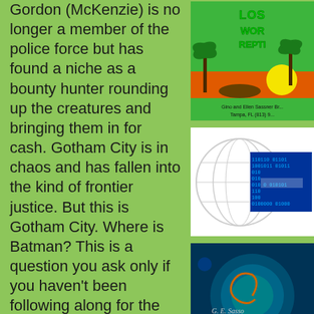Gordon (McKenzie) is no longer a member of the police force but has found a niche as a bounty hunter rounding up the creatures and bringing them in for cash. Gotham City is in chaos and has fallen into the kind of frontier justice. But this is Gotham City. Where is Batman? This is a question you ask only if you haven't been following along for the first two seasons of Gotham. You can find out more about the show and its setup by checking out our earlier reviews Here. For the rest of us, let's look at what the
[Figure (illustration): Book cover for 'Lost World of Reptiles' with green and tropical motif, palm trees, yellow sun, and reptile illustration. Text at bottom: Gino and Ellen Sassner... Tampa, FL (813) 9...]
[Figure (illustration): Globe/internet icon with blue binary code overlay (0s and 1s) on white background]
[Figure (photo): Book cover 'In Cold Blood' by G.E. Sasso, dark blue/teal background with circular/spiral design]